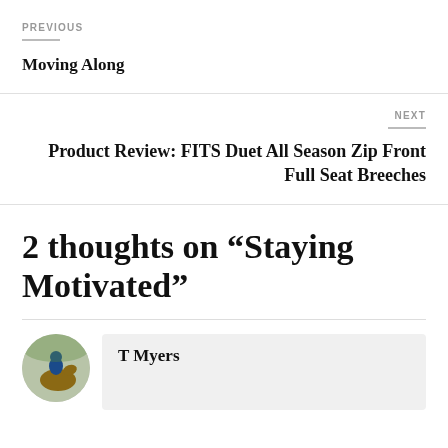PREVIOUS
Moving Along
NEXT
Product Review: FITS Duet All Season Zip Front Full Seat Breeches
2 thoughts on “Staying Motivated”
[Figure (photo): Circular avatar photo of a person on horseback, outdoors with green background]
T Myers